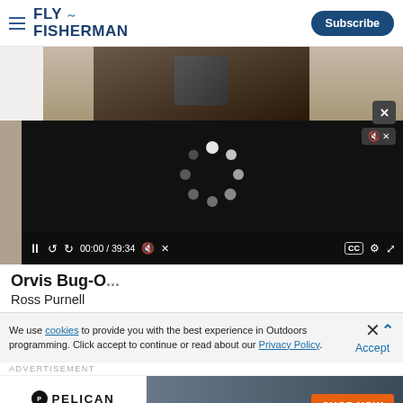FLY FISHERMAN | Subscribe
[Figure (screenshot): Partial photo of fishing/outdoor gear, dark tones, partially obscured by video player overlay]
[Figure (screenshot): Video player overlay with loading spinner, mute button, and playback controls showing 00:00 / 39:34]
Orvis Bug-O...
Ross Purnell
We use cookies to provide you with the best experience in Outdoors programming. Click accept to continue or read about our Privacy Policy.
[Figure (infographic): Pelican 1745 Air Case advertisement banner with SHOP NOW button]